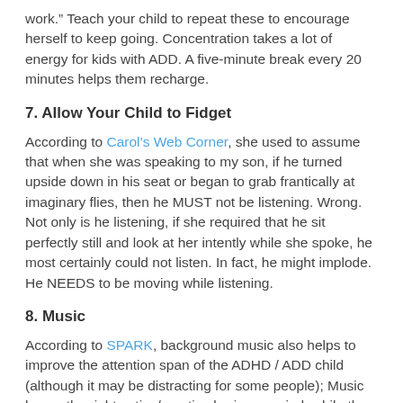work.” Teach your child to repeat these to encourage herself to keep going. Concentration takes a lot of energy for kids with ADD. A five-minute break every 20 minutes helps them recharge.
7. Allow Your Child to Fidget
According to Carol’s Web Corner, she used to assume that when she was speaking to my son, if he turned upside down in his seat or began to grab frantically at imaginary flies, then he MUST not be listening. Wrong. Not only is he listening, if she required that he sit perfectly still and look at her intently while she spoke, he most certainly could not listen. In fact, he might implode. He NEEDS to be moving while listening.
8. Music
According to SPARK, background music also helps to improve the attention span of the ADHD / ADD child (although it may be distracting for some people); Music keeps the right active/creative brain occupied, while the left brain focus on detailed and analytical work which requires